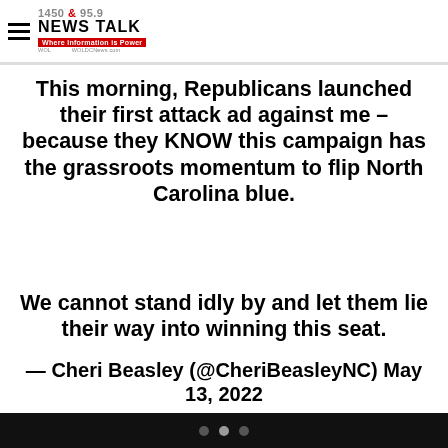1450 & 95.9 NEWS TALK — Where Information is Power — WOL — WOLDCNews.com
mpaign is under attack.
This morning, Republicans launched their first attack ad against me – because they KNOW this campaign has the grassroots momentum to flip North Carolina blue.
We cannot stand idly by and let them lie their way into winning this seat.
— Cheri Beasley (@CheriBeasleyNC) May 13, 2022
Like the type of distortions we saw during soon to be